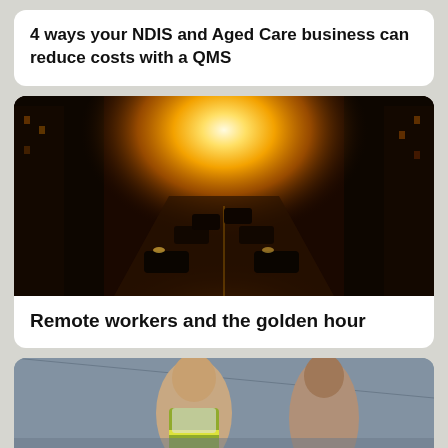4 ways your NDIS and Aged Care business can reduce costs with a QMS
[Figure (photo): Dark street scene with cars and bright golden sunlight blazing between buildings at the end of the road]
Remote workers and the golden hour
[Figure (photo): Two workers talking, one wearing a high-visibility vest, in what appears to be a workplace corridor]